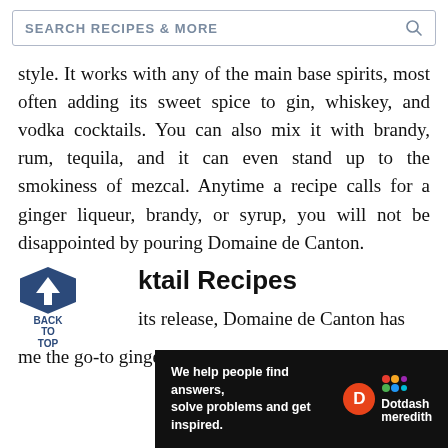[Figure (screenshot): Search bar with text 'SEARCH RECIPES & MORE' and a magnifying glass icon on the right]
style. It works with any of the main base spirits, most often adding its sweet spice to gin, whiskey, and vodka cocktails. You can also mix it with brandy, rum, tequila, and it can even stand up to the smokiness of mezcal. Anytime a recipe calls for a ginger liqueur, brandy, or syrup, you will not be disappointed by pouring Domaine de Canton.
ktail Recipes
its release, Domaine de Canton has me the go-to ginger liqueur in many bars. It
[Figure (screenshot): Black advertisement banner for Dotdash Meredith: 'We help people find answers, solve problems and get inspired.' with D circle logo and colorful Dotdash Meredith logo]